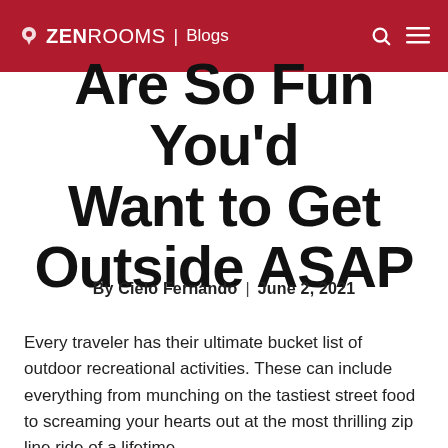ZEN ROOMS | Blogs
Are So Fun You'd Want to Get Outside ASAP
By Cielo Fernando  |  June 2, 2021
Every traveler has their ultimate bucket list of outdoor recreational activities. These can include everything from munching on the tastiest street food to screaming your hearts out at the most thrilling zip line ride of a lifetime.